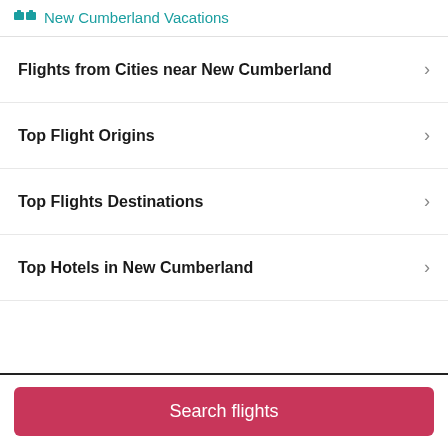New Cumberland Vacations
Flights from Cities near New Cumberland
Top Flight Origins
Top Flights Destinations
Top Hotels in New Cumberland
Top Trending
Search flights